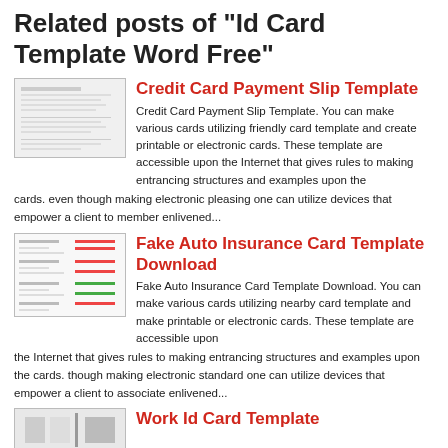Related posts of "Id Card Template Word Free"
Credit Card Payment Slip Template
Credit Card Payment Slip Template. You can make various cards utilizing friendly card template and create printable or electronic cards. These template are accessible upon the Internet that gives rules to making entrancing structures and examples upon the cards. even though making electronic pleasing one can utilize devices that empower a client to member enlivened...
Fake Auto Insurance Card Template Download
Fake Auto Insurance Card Template Download. You can make various cards utilizing nearby card template and make printable or electronic cards. These template are accessible upon the Internet that gives rules to making entrancing structures and examples upon the cards. though making electronic standard one can utilize devices that empower a client to associate enlivened...
Work Id Card Template